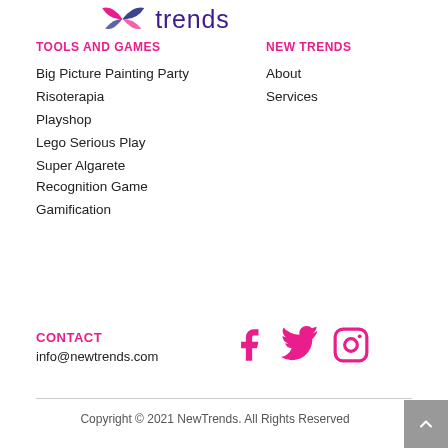[Figure (logo): NewTrends logo with wing/leaf icon and text 'trends' in purple]
TOOLS AND GAMES
Big Picture Painting Party
Risoterapia
Playshop
Lego Serious Play
Super Algarete Recognition Game
Gamification
NEW TRENDS
About
Services
CONTACT
info@newtrends.com
[Figure (illustration): Social media icons: Facebook, Twitter, Instagram in magenta/pink]
Copyright © 2021 NewTrends. All Rights Reserved